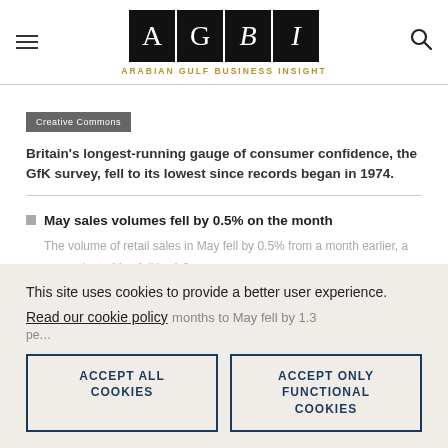AGBI — ARABIAN GULF BUSINESS INSIGHT
Creative Commons
Britain's longest-running gauge of consumer confidence, the GfK survey, fell to its lowest since records began in 1974.
May sales volumes fell by 0.5% on the month
This site uses cookies to provide a better user experience.
Read our cookie policy
ACCEPT ALL COOKIES
ACCEPT ONLY FUNCTIONAL COOKIES